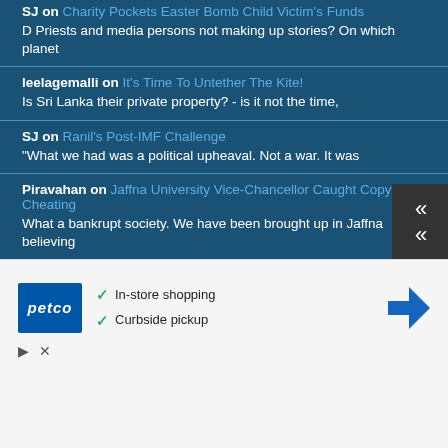SJ on Charity Pockets Easter Bomb Child Victim's Funds
D Priests and media persons not making up stories? On which planet
leelagemalli on It's Time To Untether The Kite!
Is Sri Lanka their private property? - is it not the time,
SJ on Ranil's Post-IMF Challenge
"What we had was a political upheaval. Not a war. It was
Piravahan on Jaffna University Vice-Chancellor Caught Copying & Cheating
What a bankrupt society. We have been brought up in Jaffna believing
[Figure (other): Advertisement banner for Petco featuring logo, checkmarks for 'In-store shopping' and 'Curbside pickup', and a navigation/directions icon]